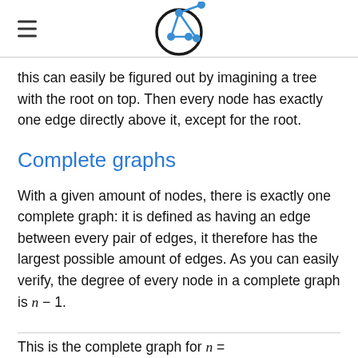[hamburger menu icon] [graph theory logo]
this can easily be figured out by imagining a tree with the root on top. Then every node has exactly one edge directly above it, except for the root.
Complete graphs
With a given amount of nodes, there is exactly one complete graph: it is defined as having an edge between every pair of edges, it therefore has the largest possible amount of edges. As you can easily verify, the degree of every node in a complete graph is n − 1.
This is the complete graph for n = 5